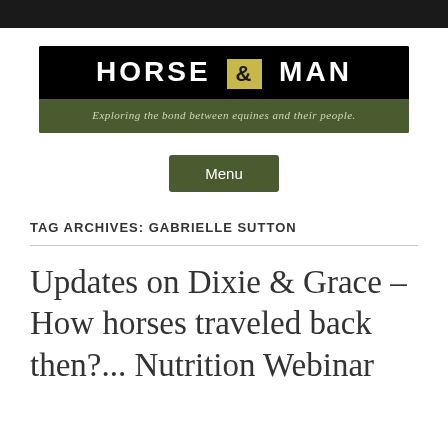[Figure (logo): Horse & Man blog logo banner with dark green background, black bar with white bold text 'HORSE & MAN' with gold ampersand box, and italic tagline 'Exploring the bond between equines and their people.']
Menu
TAG ARCHIVES: GABRIELLE SUTTON
Updates on Dixie & Grace – How horses traveled back then?... Nutrition Webinar